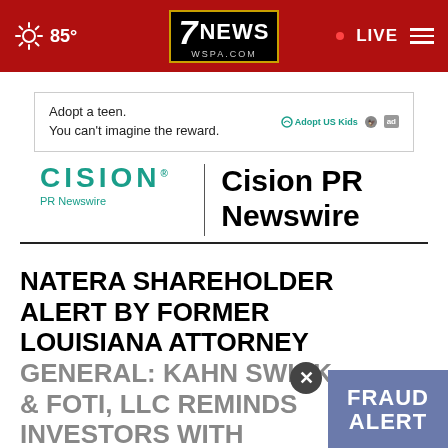85° | 7NEWS WSPA.COM | LIVE
[Figure (screenshot): Advertisement banner: Adopt a teen. You can't imagine the reward. Adopt US Kids logo and ad badge.]
[Figure (logo): Cision PR Newswire logo with teal CISION wordmark, PR Newswire subtitle, vertical divider, and bold Cision PR Newswire text]
NATERA SHAREHOLDER ALERT BY FORMER LOUISIANA ATTORNEY GENERAL: KAHN SWICK & FOTI, LLC REMINDS INVESTORS WITH
[Figure (infographic): FRAUD ALERT overlay badge in blue-gray with white bold text, and a close (X) button]